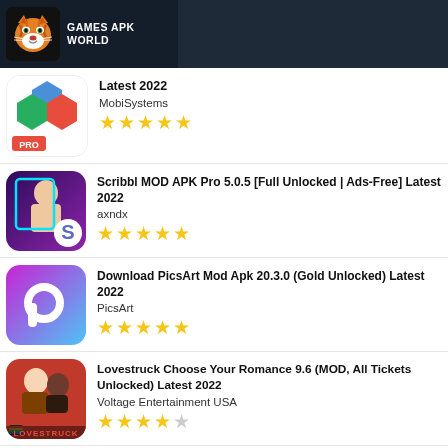GAMES APK WORLD
Latest 2022 | MobiSystems | ★★★★★
Scribbl MOD APK Pro 5.0.5 [Full Unlocked | Ads-Free] Latest 2022 | axndx | ★★★★★
Download PicsArt Mod Apk 20.3.0 (Gold Unlocked) Latest 2022 | PicsArt | ★★★★★
Lovestruck Choose Your Romance 9.6 (MOD, All Tickets Unlocked) Latest 2022 | Voltage Entertainment USA | ★★★★☆